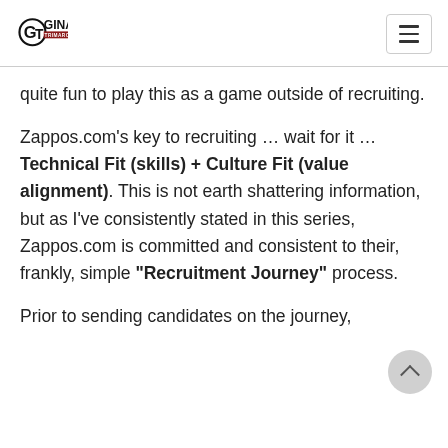Gina Trimarco
quite fun to play this as a game outside of recruiting.
Zappos.com's key to recruiting … wait for it … Technical Fit (skills) + Culture Fit (value alignment). This is not earth shattering information, but as I've consistently stated in this series, Zappos.com is committed and consistent to their, frankly, simple "Recruitment Journey" process.
Prior to sending candidates on the journey,